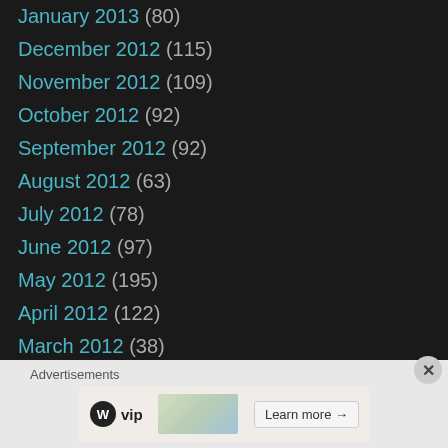January 2013 (80)
December 2012 (115)
November 2012 (109)
October 2012 (92)
September 2012 (92)
August 2012 (63)
July 2012 (78)
June 2012 (97)
May 2012 (195)
April 2012 (122)
March 2012 (38)
February 2012 (30)
January 2012 (32)
December 2011 (32)
November 2011 (1)
Advertisements
[Figure (other): WordPress VIP advertisement banner with Learn more button]